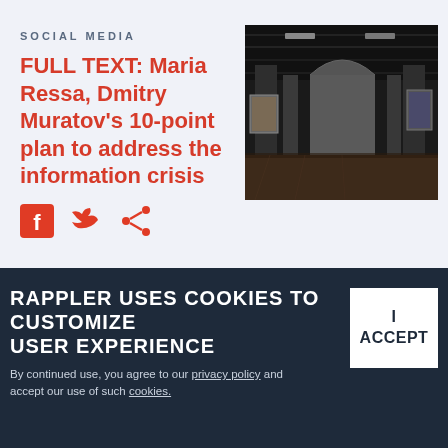SOCIAL MEDIA
FULL TEXT: Maria Ressa, Dmitry Muratov's 10-point plan to address the information crisis
[Figure (photo): Interior of a gallery or large hall with exposed ceiling, concrete pillars, polished floor, and artwork on walls]
[Figure (infographic): Social media share icons: Facebook, Twitter, Share]
RAPPLER USES COOKIES TO CUSTOMIZE USER EXPERIENCE
By continued use, you agree to our privacy policy and accept our use of such cookies.
I ACCEPT